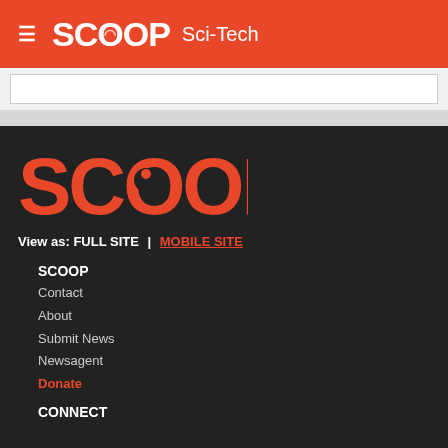SCOOP Sci-Tech
[Figure (logo): SCOOP logo large in dark footer area]
View as: FULL SITE | MOBILE SITE
SCOOP
Contact
About
Submit News
Newsagent
Donate
CONNECT